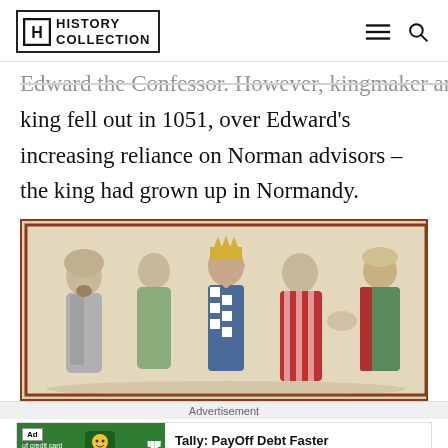History Collection
Edward the Confessor. However, kingmaker and king fell out in 1051, over Edward’s increasing reliance on Norman advisors – the king had grown up in Normandy.
[Figure (illustration): Medieval manuscript illumination showing a crowned king in blue and white garments gesturing among several figures, one in red striped clothing, against a parchment-toned background with a red border frame.]
Advertisement
[Figure (other): Advertisement banner for Tally: PayOff Debt Faster app with green background on left showing Ad badge and tally mark bars icon, and install button on right.]